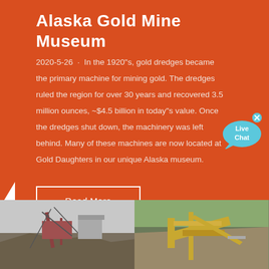Alaska Gold Mine Museum
2020-5-26 · In the 1920"s, gold dredges became the primary machine for mining gold. The dredges ruled the region for over 30 years and recovered 3.5 million ounces, ~$4.5 billion in today"s value. Once the dredges shut down, the machinery was left behind. Many of these machines are now located at Gold Daughters in our unique Alaska museum.
Read More
[Figure (photo): Two photographs of gold mining equipment and operations in Alaska, showing dredges and mining machinery]
[Figure (other): Live Chat bubble overlay in cyan blue]